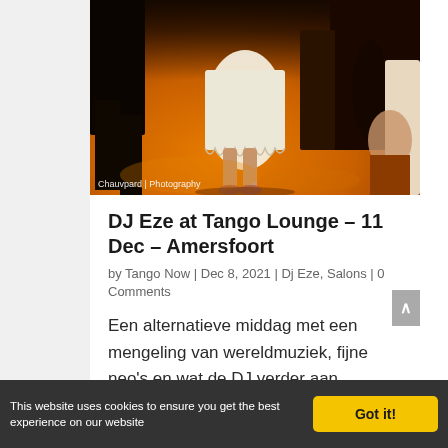[Figure (photo): Dancers at a tango event, warm amber/orange lighting on a dance floor, showing legs and dresses of dancers. Photo credit: Chauvpard | Photography]
Chauvpard | Photography
DJ Eze at Tango Lounge – 11 Dec – Amersfoort
by Tango Now | Dec 8, 2021 | Dj Eze, Salons | 0 Comments
Een alternatieve middag met een mengeling van wereldmuziek, fijne neo's en wat de DJ verder aan dansbare muziek
This website uses cookies to ensure you get the best experience on our website